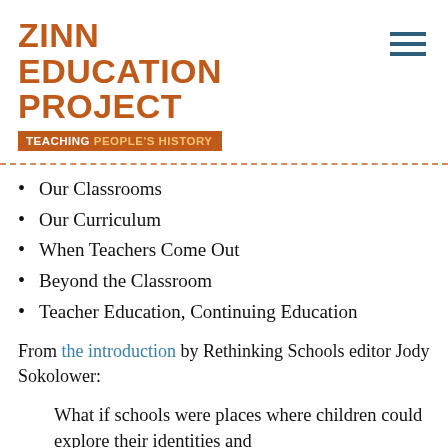ZINN EDUCATION PROJECT — TEACHING PEOPLE'S HISTORY
Our Classrooms
Our Curriculum
When Teachers Come Out
Beyond the Classroom
Teacher Education, Continuing Education
From the introduction by Rethinking Schools editor Jody Sokolower:
What if schools were places where children could explore their identities and